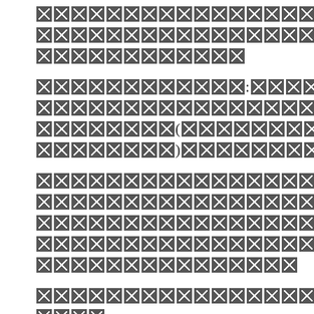[redacted text block - paragraph 1]
[redacted text block - paragraph 2 with colon, comma, parenthetical, and question mark]
[redacted text block - paragraph 3 with opening and closing quotation marks]
[redacted text block - paragraph 4]